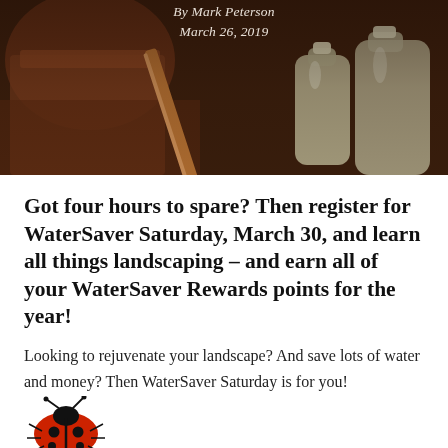[Figure (photo): Hero photo of garden/water saving items — terracotta pot, plastic water bottle, copper pipe, dark earthy background. Overlaid with byline 'By Mark Peterson' and date 'March 26, 2019'.]
Got four hours to spare? Then register for WaterSaver Saturday, March 30, and learn all things landscaping – and earn all of your WaterSaver Rewards points for the year!
Looking to rejuvenate your landscape? And save lots of water and money? Then WaterSaver Saturday is for you!